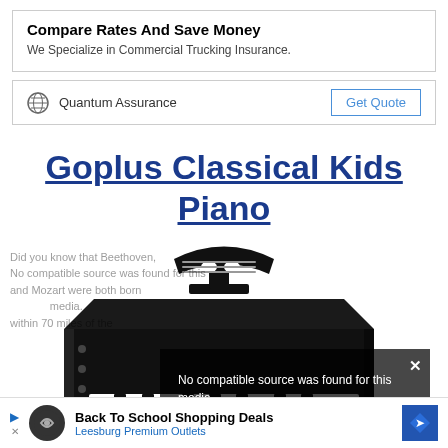Compare Rates And Save Money
We Specialize in Commercial Trucking Insurance.
Quantum Assurance
Get Quote
Goplus Classical Kids Piano
[Figure (photo): Black miniature grand piano toy for kids with music stand on top, black and white keys visible]
No compatible source was found for this media.
Back To School Shopping Deals
Leesburg Premium Outlets